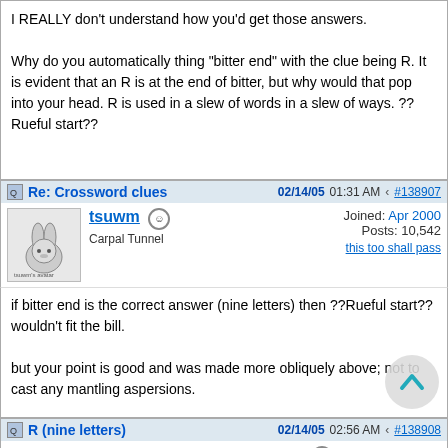I REALLY don't understand how you'd get those answers.

Why do you automatically thing "bitter end" with the clue being R. It is evident that an R is at the end of bitter, but why would that pop into your head. R is used in a slew of words in a slew of ways. ?? Rueful start??
Re: Crossword clues  02/14/05 01:31 AM  #138907
tsuwm  Carpal Tunnel  Joined: Apr 2000  Posts: 10,542  this too shall pass
if bitter end is the correct answer (nine letters) then ??Rueful start?? wouldn't fit the bill.

but your point is good and was made more obliquely above; not to cast any mantling aspersions.
R (nine letters)  02/14/05 02:56 AM  #138908
wofabulicodoc  Joined: Aug 2001